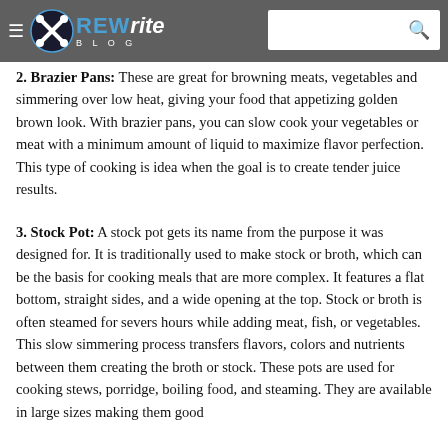REWrite Blog navigation header with search bar
2. Brazier Pans: These are great for browning meats, vegetables and simmering over low heat, giving your food that appetizing golden brown look. With brazier pans, you can slow cook your vegetables or meat with a minimum amount of liquid to maximize flavor perfection. This type of cooking is idea when the goal is to create tender juice results.
3. Stock Pot: A stock pot gets its name from the purpose it was designed for. It is traditionally used to make stock or broth, which can be the basis for cooking meals that are more complex. It features a flat bottom, straight sides, and a wide opening at the top. Stock or broth is often steamed for severs hours while adding meat, fish, or vegetables. This slow simmering process transfers flavors, colors and nutrients between them creating the broth or stock. These pots are used for cooking stews, porridge, boiling food, and steaming. They are available in large sizes making them good